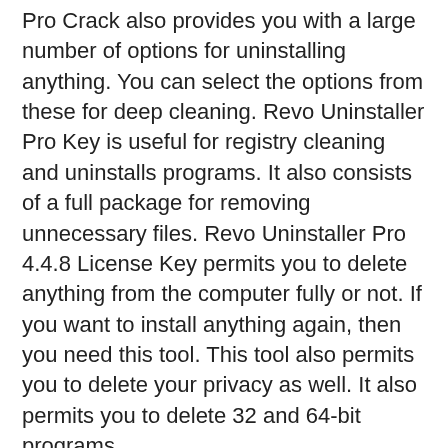Pro Crack also provides you with a large number of options for uninstalling anything. You can select the options from these for deep cleaning. Revo Uninstaller Pro Key is useful for registry cleaning and uninstalls programs. It also consists of a full package for removing unnecessary files. Revo Uninstaller Pro 4.4.8 License Key permits you to delete anything from the computer fully or not. If you want to install anything again, then you need this tool. This tool also permits you to delete your privacy as well. It also permits you to delete 32 and 64-bit programs.
Revo Uninstaller Pro Full Version also has an auto manager that deletes those programs that cause the slowing of your system. It also detects the useless files and folders directly and removes them. Revo Uninstaller Pro Crack also gives you the guarantee that no more useless files are left. By using this, you can also remove the cookies as well. Revo Uninstaller Keygen also does all